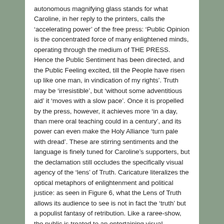autonomous magnifying glass stands for what Caroline, in her reply to the printers, calls the ‘accelerating power’ of the free press: ‘Public Opinion is the concentrated force of many enlightened minds, operating through the medium of THE PRESS. Hence the Public Sentiment has been directed, and the Public Feeling excited, till the People have risen up like one man, in vindication of my rights’. Truth may be ‘irresistible’, but ‘without some adventitious aid’ it ‘moves with a slow pace’. Once it is propelled by the press, however, it achieves more ‘in a day, than mere oral teaching could in a century’, and its power can even make the Holy Alliance ‘turn pale with dread’. These are stirring sentiments and the language is finely tuned for Caroline’s supporters, but the declamation still occludes the specifically visual agency of the ‘lens’ of Truth. Caricature literalizes the optical metaphors of enlightenment and political justice: as seen in Figure 6, what the Lens of Truth allows its audience to see is not in fact the ‘truth’ but a populist fantasy of retribution. Like a raree-show, the public is treated to an entertaining visual performance which riffs on the high-minded radical principles of free